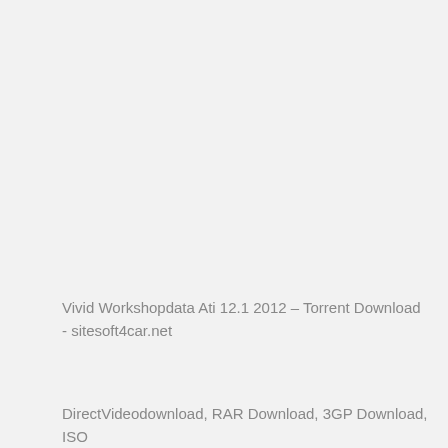Vivid Workshopdata Ati 12.1 2012 – Torrent Download - sitesoft4car.net
DirectVideodownload, RAR Download, 3GP Download, ISO